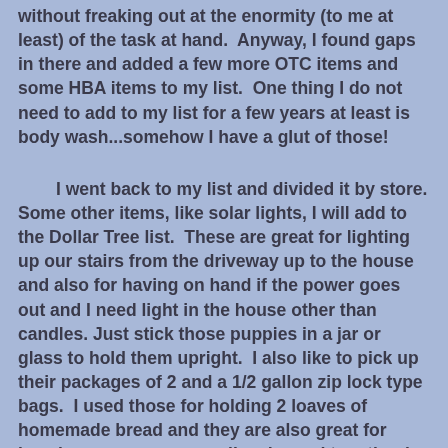without freaking out at the enormity (to me at least) of the task at hand. Anyway, I found gaps in there and added a few more OTC items and some HBA items to my list. One thing I do not need to add to my list for a few years at least is body wash...somehow I have a glut of those!
I went back to my list and divided it by store. Some other items, like solar lights, I will add to the Dollar Tree list. These are great for lighting up our stairs from the driveway up to the house and also for having on hand if the power goes out and I need light in the house other than candles. Just stick those puppies in a jar or glass to hold them upright. I also like to pick up their packages of 2 and a 1/2 gallon zip lock type bags. I used those for holding 2 loaves of homemade bread and they are also great for keeping emergency supplies dry and together in each of our cars